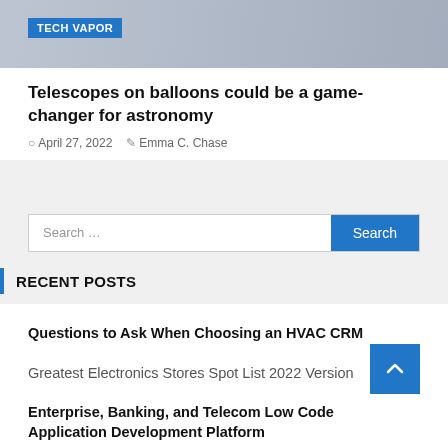[Figure (photo): Gray-blue sky/atmospheric photo with a 'TECH VAPOR' badge in blue in the upper left]
Telescopes on balloons could be a game-changer for astronomy
April 27, 2022   Emma C. Chase
Search ...  [Search button]
RECENT POSTS
Questions to Ask When Choosing an HVAC CRM
Greatest Electronics Stores Spot List 2022 Version
Enterprise, Banking, and Telecom Low Code Application Development Platform
9 Tips to Choose The BEST Computer Desk for Gaming